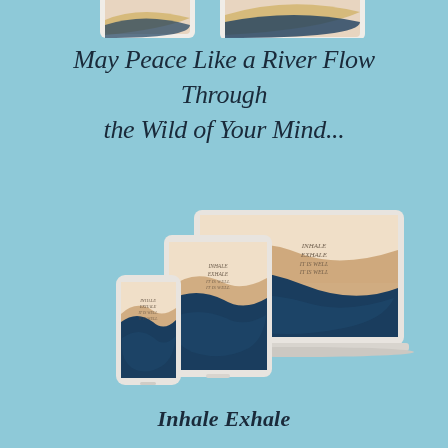[Figure (illustration): Partial top strip showing device mockups cropped at top edge]
May Peace Like a River Flow Through the Wild of Your Mind...
[Figure (illustration): Three device mockups (smartphone, tablet, laptop) displaying an 'Inhale Exhale It is Well' wallpaper with navy blue wave and gold brushstroke artwork on a light peach background]
Inhale Exhale